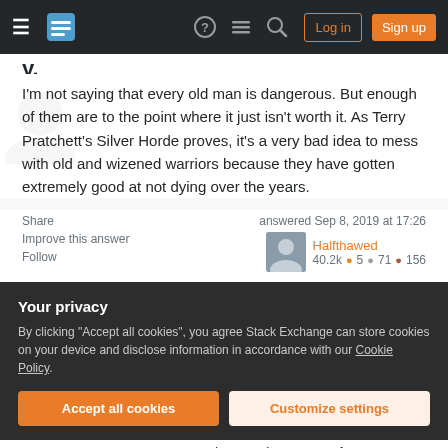Stack Exchange navigation bar with Log in and Sign up buttons
I'm not saying that every old man is dangerous. But enough of them are to the point where it just isn't worth it. As Terry Pratchett's Silver Horde proves, it's a very bad idea to mess with old and wizened warriors because they have gotten extremely good at not dying over the years.
Share   Improve this answer   Follow   answered Sep 8, 2019 at 17:26   Halfthawed   40.2k  5  71  156
Your privacy
By clicking "Accept all cookies", you agree Stack Exchange can store cookies on your device and disclose information in accordance with our Cookie Policy.
Accept all cookies   Customize settings
Everyone generates a more or less static amount of